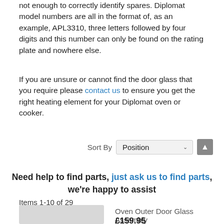not enough to correctly identify spares. Diplomat model numbers are all in the format of, as an example, APL3310, three letters followed by four digits and this number can only be found on the rating plate and nowhere else.
If you are unsure or cannot find the door glass that you require please contact us to ensure you get the right heating element for your Diplomat oven or cooker.
Sort By Position
Need help to find parts, just ask us to find parts, we're happy to assist
Items 1-10 of 29
Oven Outer Door Glass Assembly
£159.95